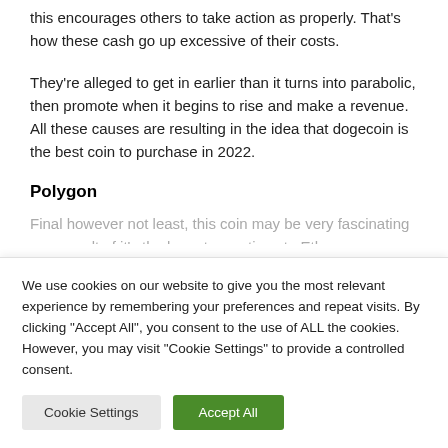this encourages others to take action as properly. That's how these cash go up excessive of their costs.
They're alleged to get in earlier than it turns into parabolic, then promote when it begins to rise and make a revenue. All these causes are resulting in the idea that dogecoin is the best coin to purchase in 2022.
Polygon
Final however not least, this coin may be very fascinating as a result of it's the layer two options to Ethereum
We use cookies on our website to give you the most relevant experience by remembering your preferences and repeat visits. By clicking "Accept All", you consent to the use of ALL the cookies. However, you may visit "Cookie Settings" to provide a controlled consent.